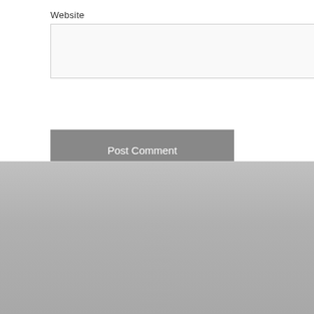Website
[Figure (other): Website text input field]
Post Comment
ABOUT US
Tianjin Decho International Trade Co., Ltd is a professional supplier and stockiest of a wide range of products,integrating assembling, production and trading together.